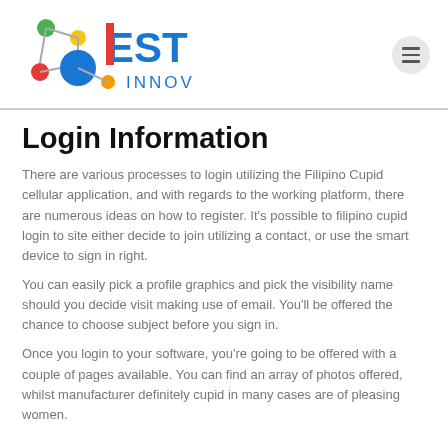[Figure (logo): EST INNOV logo with colorful connected dots/circles on the left and 'EST' in bold red/blue letters with 'INNOV' in blue below]
Login Information
There are various processes to login utilizing the Filipino Cupid cellular application, and with regards to the working platform, there are numerous ideas on how to register. It's possible to filipino cupid login to site either decide to join utilizing a contact, or use the smart device to sign in right.
You can easily pick a profile graphics and pick the visibility name should you decide visit making use of email. You'll be offered the chance to choose subject before you sign in.
Once you login to your software, you're going to be offered with a couple of pages available. You can find an array of photos offered, whilst manufacturer definitely cupid in many cases are of pleasing women.